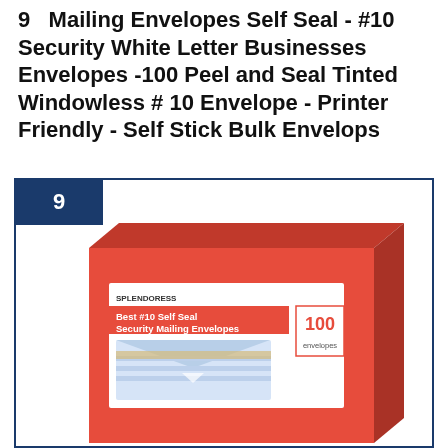9  Mailing Envelopes Self Seal - #10 Security White Letter Businesses Envelopes -100 Peel and Seal Tinted Windowless # 10 Envelope - Printer Friendly - Self Stick Bulk Envelops
[Figure (photo): Product photo of a red box of Splendoress Best #10 Self Seal Security Mailing Envelopes, 100 envelopes, shown with a sample envelope in front, inside a dark navy border with a rank badge showing number 9]